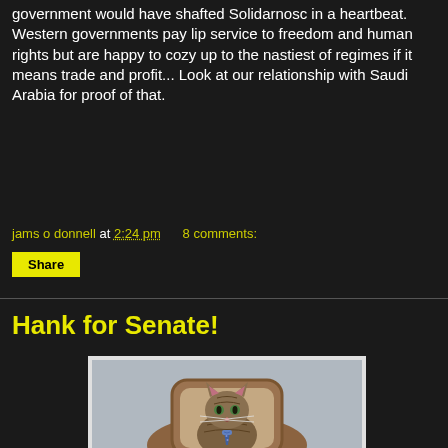government would have shafted Solidarnosc in a heartbeat. Western governments pay lip service to freedom and human rights but are happy to cozy up to the nastiest of regimes if it means trade and profit... Look at our relationship with Saudi Arabia for proof of that.
jams o donnell at 2:24 pm   8 comments:
Share
Hank for Senate!
[Figure (photo): A large fluffy tabby cat (Maine Coon) sitting upright in an ornate wooden chair/throne, wearing a patterned necktie, photographed against a grey background. The image has a formal portrait style.]